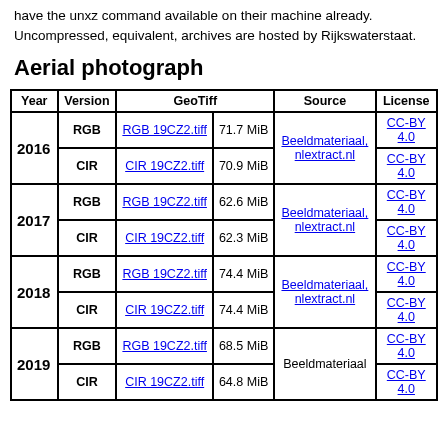have the unxz command available on their machine already. Uncompressed, equivalent, archives are hosted by Rijkswaterstaat.
Aerial photograph
| Year | Version | GeoTiff |  | Source | License |
| --- | --- | --- | --- | --- | --- |
| 2016 | RGB | RGB_19CZ2.tiff | 71.7 MiB | Beeldmateriaal, nlextract.nl | CC-BY 4.0 |
| 2016 | CIR | CIR_19CZ2.tiff | 70.9 MiB | Beeldmateriaal, nlextract.nl | CC-BY 4.0 |
| 2017 | RGB | RGB_19CZ2.tiff | 62.6 MiB | Beeldmateriaal, nlextract.nl | CC-BY 4.0 |
| 2017 | CIR | CIR_19CZ2.tiff | 62.3 MiB | Beeldmateriaal, nlextract.nl | CC-BY 4.0 |
| 2018 | RGB | RGB_19CZ2.tiff | 74.4 MiB | Beeldmateriaal, nlextract.nl | CC-BY 4.0 |
| 2018 | CIR | CIR_19CZ2.tiff | 74.4 MiB | Beeldmateriaal, nlextract.nl | CC-BY 4.0 |
| 2019 | RGB | RGB_19CZ2.tiff | 68.5 MiB | Beeldmateriaal | CC-BY 4.0 |
| 2019 | CIR | CIR_19CZ2.tiff | 64.8 MiB | Beeldmateriaal | CC-BY 4.0 |